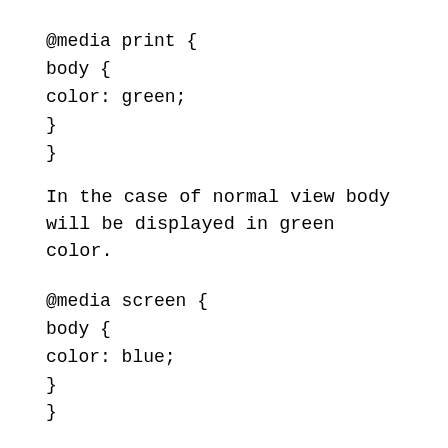@media print {
body {
color: green;
}
}
In the case of normal view body will be displayed in green color.
@media screen {
body {
color: blue;
}
}
You can check different capabilities of the